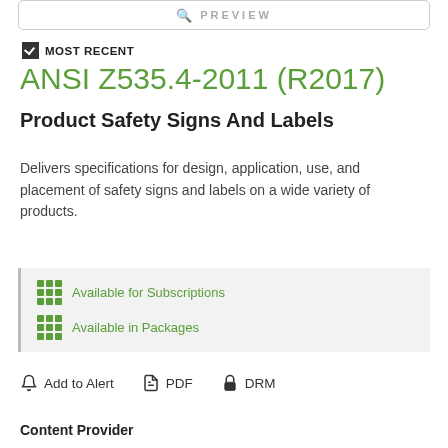[Figure (screenshot): Preview search bar at top of page]
☑ MOST RECENT
ANSI Z535.4-2011 (R2017)
Product Safety Signs And Labels
Delivers specifications for design, application, use, and placement of safety signs and labels on a wide variety of products.
Available for Subscriptions
Available in Packages
Add to Alert   PDF   DRM
Content Provider